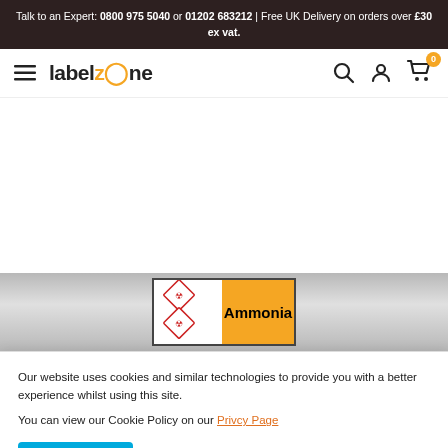Talk to an Expert: 0800 975 5040 or 01202 683212 | Free UK Delivery on orders over £30 ex vat.
[Figure (logo): LabelZone logo with hamburger menu icon and navigation icons (search, account, cart with 0 badge)]
[Figure (photo): Ammonia hazard label product image on grey gradient banner background]
Our website uses cookies and similar technologies to provide you with a better experience whilst using this site.
You can view our Cookie Policy on our Privcy Page
Accept